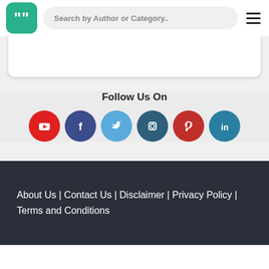[Figure (logo): Green rounded square logo with white quotation mark icon]
Search by Author or Category..
Follow Us On
[Figure (infographic): Six social media icons in colored circles: YouTube (red), Facebook (dark blue), Twitter (light blue), Instagram (dark teal), Pinterest (dark red), LinkedIn (teal)]
About Us | Contact Us | Disclaimer | Privacy Policy | Terms and Conditions